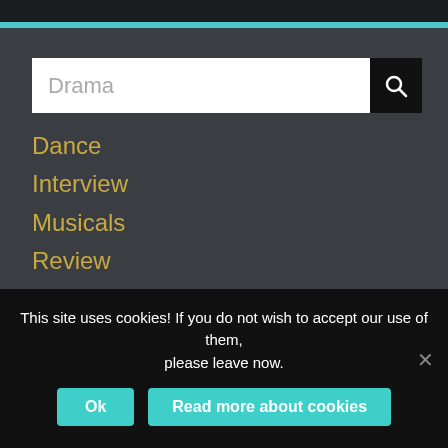[Figure (screenshot): Search bar with placeholder text 'Drama' and a black search button with magnifying glass icon]
Dance
Interview
Musicals
Review
Spain
Theatre
Uncategorised
art Artangel Barcelona Barcelona culture Barcelona
This site uses cookies! If you do not wish to accept our use of them, please leave now.
Ok   Read more about cookies